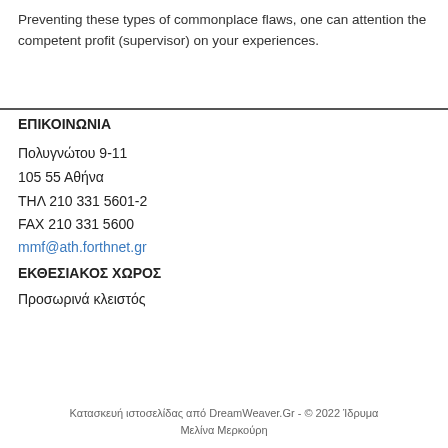Preventing these types of commonplace flaws, one can attention the competent profit (supervisor) on your experiences.
ΕΠΙΚΟΙΝΩΝΙΑ
Πολυγνώτου 9-11
105 55 Αθήνα
ΤΗΛ 210 331 5601-2
FAX 210 331 5600
mmf@ath.forthnet.gr
ΕΚΘΕΣΙΑΚΟΣ ΧΩΡΟΣ
Προσωρινά κλειστός
Κατασκευή ιστοσελίδας από DreamWeaver.Gr - © 2022 Ίδρυμα Μελίνα Μερκούρη